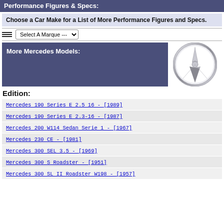Performance Figures & Specs:
Choose a Car Make for a List of More Performance Figures and Specs.
Select A Marque ---
More Mercedes Models:
[Figure (logo): Mercedes-Benz three-pointed star logo in chrome on white background]
Edition:
Mercedes 190 Series E 2.5 16 - [1989]
Mercedes 190 Series E 2.3-16 - [1987]
Mercedes 200 W114 Sedan Serie 1 - [1967]
Mercedes 230 CE - [1981]
Mercedes 300 SEL 3.5 - [1969]
Mercedes 300 S Roadster - [1951]
Mercedes 300 SL II Roadster W198 - [1957]